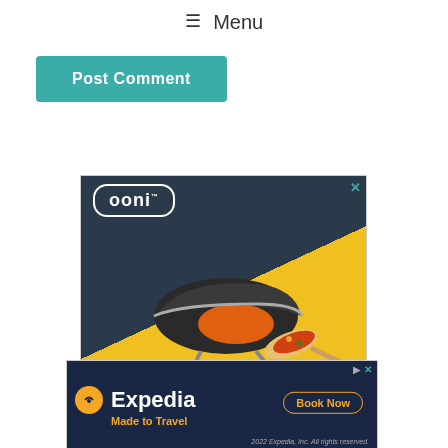≡ Menu
Post Comment
[Figure (photo): Ooni pizza oven advertisement showing a portable pizza oven with a cooked pizza on a peel, dark and yellow background with the Ooni logo]
[Figure (photo): Expedia advertisement with dark navy background, Expedia logo, tagline 'Made to Travel', and 'Book Now' button. Footer reads '2022 Expedia, Inc. All rights reserved.']